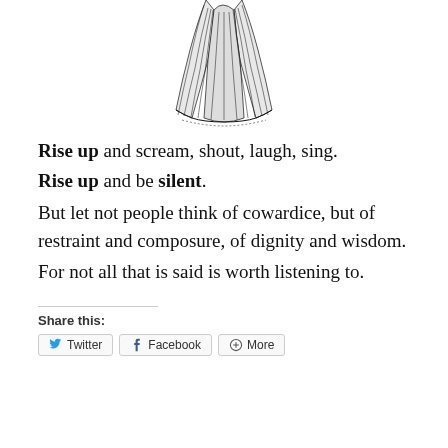[Figure (illustration): Black and white ink drawing of a flowing skirt or robe, showing draped fabric with detailed line work]
Rise up and scream, shout, laugh, sing.
Rise up and be silent.
But let not people think of cowardice, but of restraint and composure, of dignity and wisdom.
For not all that is said is worth listening to.
Share this: